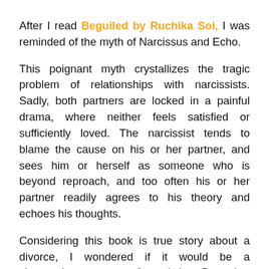After I read Beguiled by Ruchika Soi, I was reminded of the myth of Narcissus and Echo.
This poignant myth crystallizes the tragic problem of relationships with narcissists. Sadly, both partners are locked in a painful drama, where neither feels satisfied or sufficiently loved. The narcissist tends to blame the cause on his or her partner, and sees him or herself as someone who is beyond reproach, and too often his or her partner readily agrees to his theory and echoes his thoughts.
Considering this book is true story about a divorce, I wondered if it would be a vituperative account of a victim. But what surprised me was the way the really tough going was handled by the author.